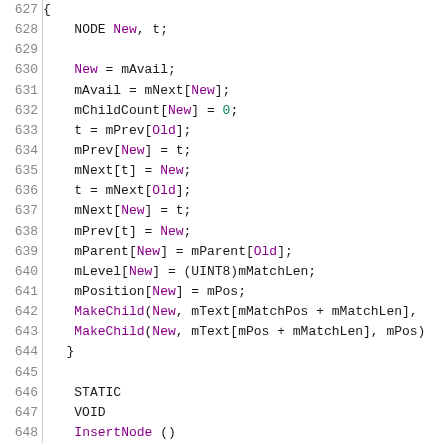[Figure (screenshot): Source code listing lines 627-648 in monospace font with line numbers on the left and syntax highlighting. Purple colored identifiers and keywords, dark text for operators and punctuation, green for numeric literals.]